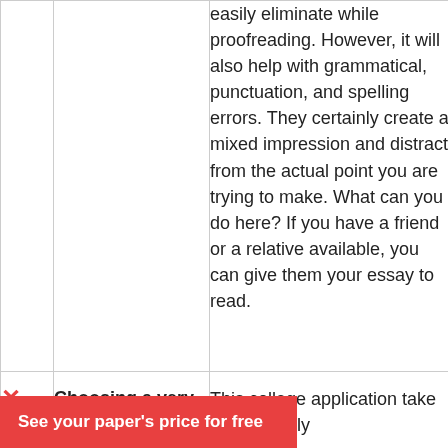easily eliminate while proofreading. However, it will also help with grammatical, punctuation, and spelling errors. They certainly create a mixed impression and distract from the actual point you are trying to make. What can you do here? If you have a friend or a relative available, you can give them your essay to read.
[Figure (other): Red X mark icon indicating a mistake]
Choosing a very
This college application take is commonly
See your paper's price for free